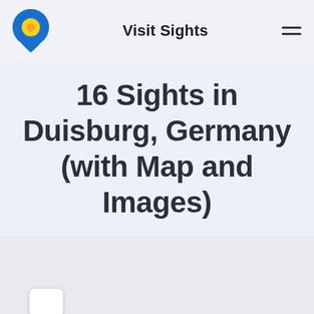Visit Sights
16 Sights in Duisburg, Germany (with Map and Images)
[Figure (map): Interactive map area with zoom controls (+, -, compass/location button) and a location pin marker visible at the bottom. Background is light grey representing a map viewport.]